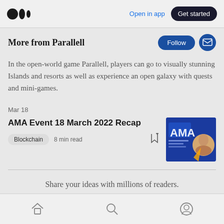Open in app  Get started
More from Parallell
In the open-world game Parallell, players can go to visually stunning Islands and resorts as well as experience an open galaxy with quests and mini-games.
Mar 18
AMA Event 18 March 2022 Recap
[Figure (photo): Thumbnail image for AMA Event 18 March 2022 Recap article, showing a blue-toned graphic with text AMA and a person's face]
Blockchain  8 min read
Share your ideas with millions of readers.
Write on Medium
Home  Search  Profile